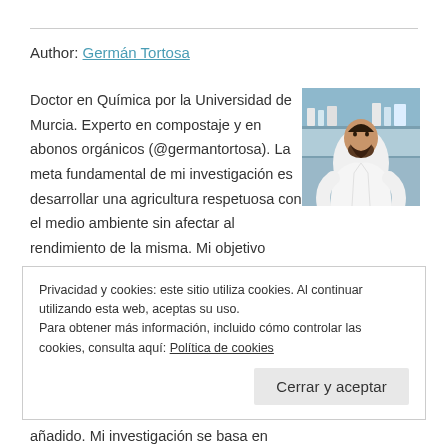Author: Germán Tortosa
Doctor en Química por la Universidad de Murcia. Experto en compostaje y en abonos orgánicos (@germantortosa). La meta fundamental de mi investigación es desarrollar una agricultura respetuosa con el medio ambiente sin afectar al rendimiento de la misma. Mi objetivo
[Figure (photo): Photo of Germán Tortosa, a man in a white lab coat, in a laboratory setting.]
Privacidad y cookies: este sitio utiliza cookies. Al continuar utilizando esta web, aceptas su uso.
Para obtener más información, incluido cómo controlar las cookies, consulta aquí: Política de cookies
añadido. Mi investigación se basa en